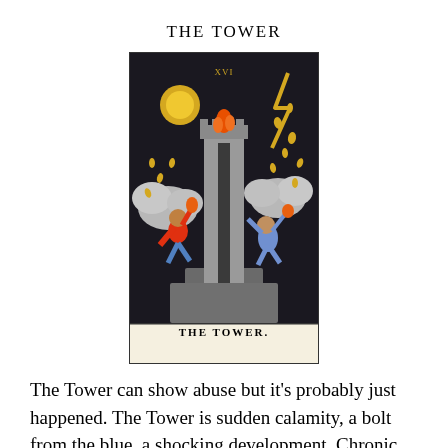THE TOWER
[Figure (illustration): The Tower tarot card (XVI) from the Rider-Waite deck, showing a tall stone tower being struck by lightning, with two figures falling from it amid flames and yod-shaped drops. The card label 'THE TOWER.' appears at the bottom.]
The Tower can show abuse but it’s probably just happened.  The Tower is sudden calamity, a bolt from the blue, a shocking development.  Chronic abuse can go on for years.  It may be